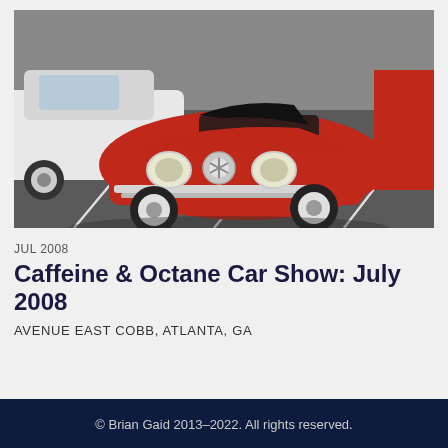[Figure (photo): Red vintage Mercedes-Benz 190SL convertible at a car show parking lot, with a white classic car on the left and a red car partially visible on the right, parking lot asphalt visible.]
JUL 2008
Caffeine & Octane Car Show: July 2008
AVENUE EAST COBB, ATLANTA, GA
© Brian Gaid 2013–2022. All rights reserved.